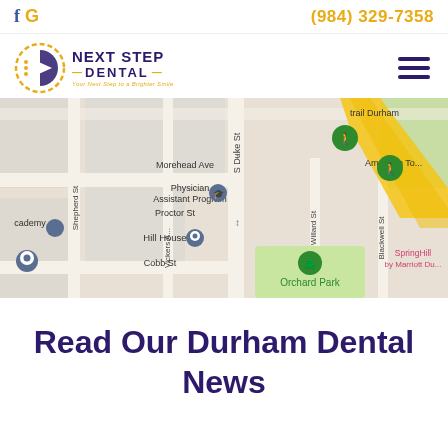f G  (984) 329-7358
[Figure (logo): Next Step Dental logo with circular icon, bold purple text NEXT STEP DENTAL, gold dashes and tagline]
[Figure (map): Google Maps screenshot showing area around S Duke St in Durham, NC with landmarks: Physician Assistant Program, Hill House, Orchard Park, trail Durham, American Tobacco, SpringHill by Marriott Durham, streets: Morehead Ave, Proctor St, Cobb St, Shepherd St, Vickers Ave, Willard St, Blackwell St]
Read Our Durham Dental News